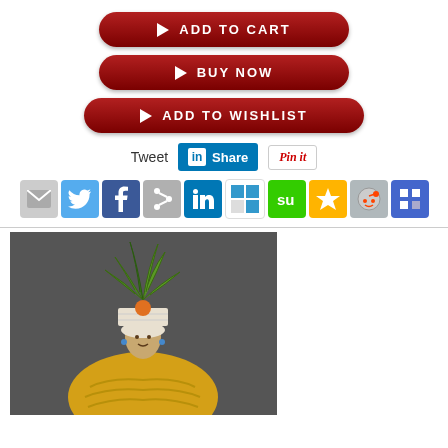[Figure (screenshot): Red Add to Cart button with play arrow icon]
[Figure (screenshot): Red Buy Now button with play arrow icon]
[Figure (screenshot): Red Add to Wishlist button with play arrow icon]
[Figure (screenshot): Social sharing row: Tweet text, LinkedIn Share button, Pinterest Pin it button]
[Figure (screenshot): Row of 10 social media icon buttons: email, Twitter, Facebook, unknown, LinkedIn, Delicious, StumbleUpon, Favorites star, Reddit, unknown]
[Figure (photo): Photo of a figurine or person wearing a yellow knit outfit with a green leaf/plant headdress, against a dark gray background]